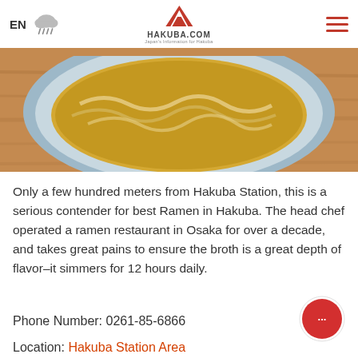EN | HAKUBA.COM
[Figure (photo): Overhead photo of a bowl of ramen with noodles in broth, light blue bowl on wooden surface]
Only a few hundred meters from Hakuba Station, this is a serious contender for best Ramen in Hakuba. The head chef operated a ramen restaurant in Osaka for over a decade, and takes great pains to ensure the broth is a great depth of flavor–it simmers for 12 hours daily.
Tottsuan Ramen's Facebook
Phone Number: 0261-85-6866
Location: Hakuba Station Area